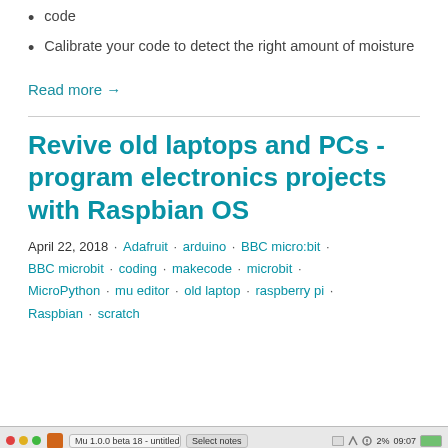code
Calibrate your code to detect the right amount of moisture
Read more →
Revive old laptops and PCs - program electronics projects with Raspbian OS
April 22, 2018 · Adafruit · arduino · BBC micro:bit · BBC microbit · coding · makecode · microbit · MicroPython · mu editor · old laptop · raspberry pi · Raspbian · scratch
[Figure (screenshot): Bottom toolbar/taskbar of a desktop application window showing macOS-style window control dots, an application icon, tab labels, and system tray icons on the right including a percentage indicator and battery icon.]